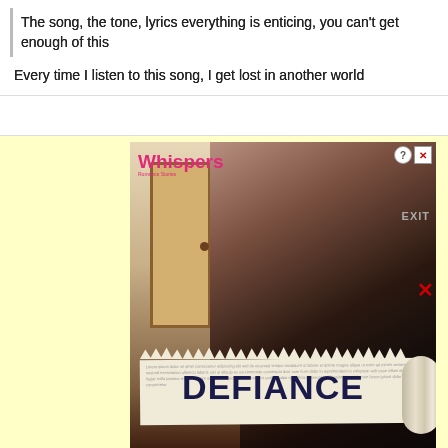The song, the tone, lyrics everything is enticing, you can't get enough of this
Every time I listen to this song, I get lost in another world
[Figure (photo): Advertisement for 'Whispers Romance Stories' app featuring the book/story 'Defiance'. Shows a couple in a romantic embrace with the word DEFIANCE on a torn newspaper banner. Close/info buttons visible in top right corner. A red X close button appears on the right side of the page.]